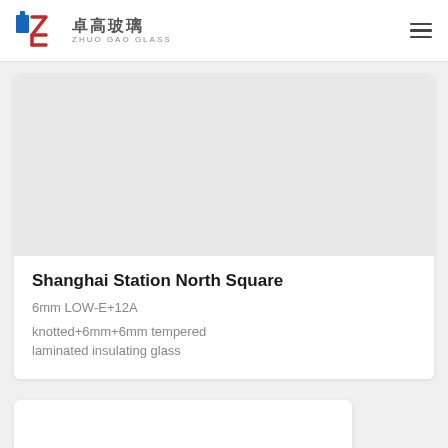卓高玻璃 ZHUO GAO GLASS
[Figure (photo): Product image area for Shanghai Station North Square glass product, shown as a light grey placeholder]
Shanghai Station North Square
6mm LOW-E+12A
knotted+6mm+6mm tempered laminated insulating glass
[Figure (photo): Partial second product card visible at bottom of page, light grey image placeholder]